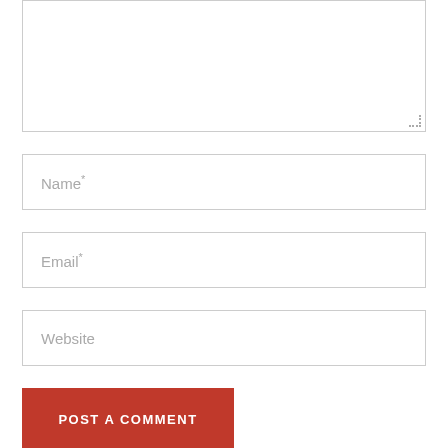[Figure (screenshot): Empty textarea input box with resize handle indicator at bottom right corner]
Name*
Email*
Website
POST A COMMENT